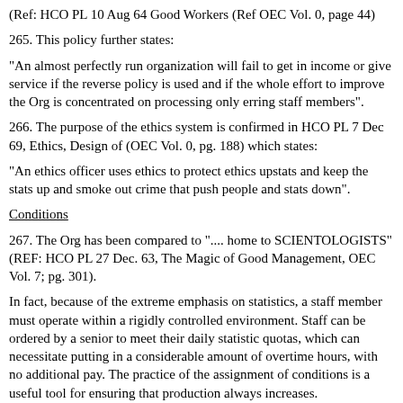(Ref: HCO PL 10 Aug 64 Good Workers (Ref OEC Vol. 0, page 44)
265. This policy further states:
"An almost perfectly run organization will fail to get in income or give service if the reverse policy is used and if the whole effort to improve the Org is concentrated on processing only erring staff members".
266. The purpose of the ethics system is confirmed in HCO PL 7 Dec 69, Ethics, Design of (OEC Vol. 0, pg. 188) which states:
"An ethics officer uses ethics to protect ethics upstats and keep the stats up and smoke out crime that push people and stats down".
Conditions
267. The Org has been compared to ".... home to SCIENTOLOGISTS" (REF: HCO PL 27 Dec. 63, The Magic of Good Management, OEC Vol. 7; pg. 301).
In fact, because of the extreme emphasis on statistics, a staff member must operate within a rigidly controlled environment. Staff can be ordered by a senior to meet their daily statistic quotas, which can necessitate putting in a considerable amount of overtime hours, with no additional pay. The practice of the assignment of conditions is a useful tool for ensuring that production always increases.
268. The conditions, in regards to statistics, are as follows: